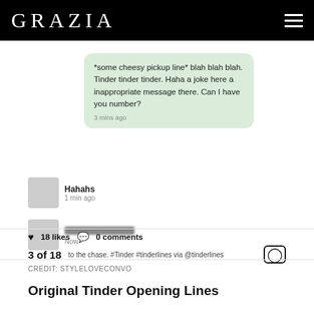GRAZIA
[Figure (screenshot): Screenshot of a Tinder/messaging app conversation. A green chat bubble reads: '*some cheesy pickup line* blah blah blah. Tinder tinder tinder. Haha a joke here a inappropriate message there. Can I have you number?' sent 3 mins ago. A reply shows 'Hahahs' 1 min ago. Another reply is blurred, timestamped 'Now'.]
18 likes   0 comments
3 of 18   to the chase. #Tinder #tinderlines via @tinderlines
CREDIT: STYLELOVECONVO
Original Tinder Opening Lines